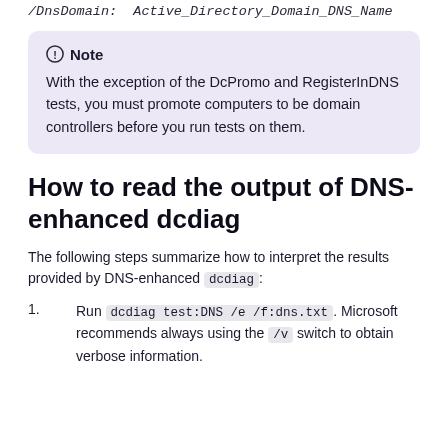/DnsDomain: Active_Directory_Domain_DNS_Name
Note
With the exception of the DcPromo and RegisterInDNS tests, you must promote computers to be domain controllers before you run tests on them.
How to read the output of DNS-enhanced dcdiag
The following steps summarize how to interpret the results provided by DNS-enhanced dcdiag:
Run dcdiag test:DNS /e /f:dns.txt. Microsoft recommends always using the /v switch to obtain verbose information.